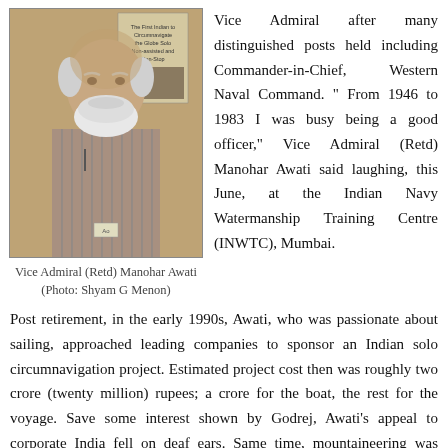[Figure (photo): Portrait photo of Vice Admiral (Retd) Manohar Awati, an elderly man with white beard wearing a striped shirt, standing in front of a poster about circumnavigation.]
Vice Admiral (Retd) Manohar Awati (Photo: Shyam G Menon)
Vice Admiral after many distinguished posts held including Commander-in-Chief, Western Naval Command. “ From 1946 to 1983 I was busy being a good officer,” Vice Admiral (Retd) Manohar Awati said laughing, this June, at the Indian Navy Watermanship Training Centre (INWTC), Mumbai.
Post retirement, in the early 1990s, Awati, who was passionate about sailing, approached leading companies to sponsor an Indian solo circumnavigation project. Estimated project cost then was roughly two crore (twenty million) rupees; a crore for the boat, the rest for the voyage. Save some interest shown by Godrej, Awati’s appeal to corporate India fell on deaf ears. Same time, mountaineering was finding support from private